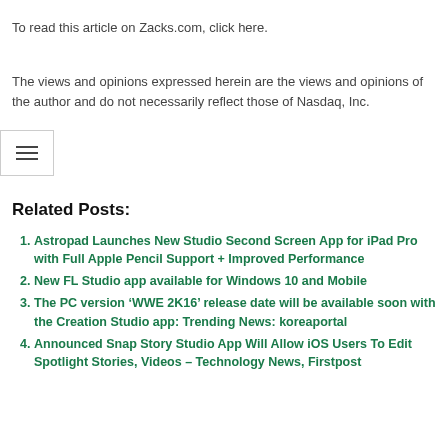To read this article on Zacks.com, click here.
The views and opinions expressed herein are the views and opinions of the author and do not necessarily reflect those of Nasdaq, Inc.
Related Posts:
Astropad Launches New Studio Second Screen App for iPad Pro with Full Apple Pencil Support + Improved Performance
New FL Studio app available for Windows 10 and Mobile
The PC version ‘WWE 2K16’ release date will be available soon with the Creation Studio app: Trending News: koreaportal
Announced Snap Story Studio App Will Allow iOS Users To Edit Spotlight Stories, Videos – Technology News, Firstpost